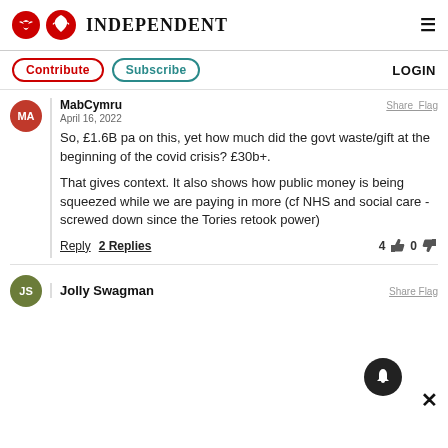INDEPENDENT
Contribute  Subscribe  LOGIN
MabCymru
April 16, 2022

So, £1.6B pa on this, yet how much did the govt waste/gift at the beginning of the covid crisis? £30b+.

That gives context. It also shows how public money is being squeezed while we are paying in more (cf NHS and social care - screwed down since the Tories retook power)

Reply  2 Replies  4 👍 0 👎
Jolly Swagman